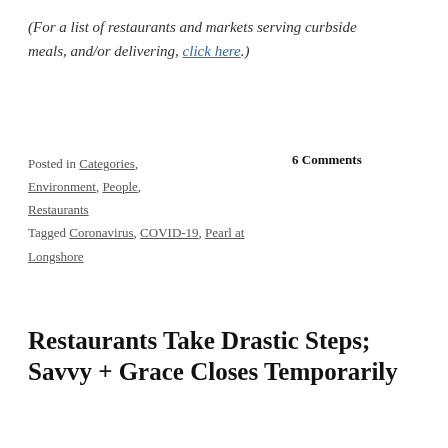(For a list of restaurants and markets serving curbside meals, and/or delivering, click here.)
Posted in Categories, Environment, People, Restaurants
Tagged Coronavirus, COVID-19, Pearl at Longshore
6 Comments
Restaurants Take Drastic Steps; Savvy + Grace Closes Temporarily
Posted on March 15, 2020 | 20 comments
First it was schools. Then the library, Town Hall and Y. Last night, it was the beaches and Compo playground.